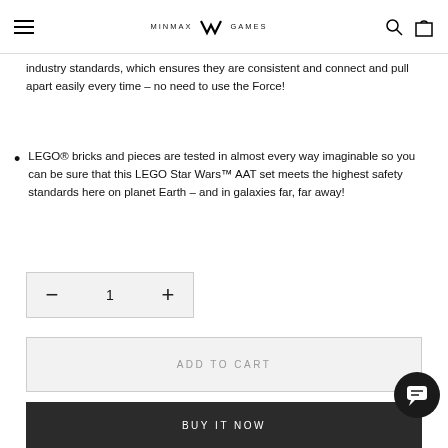MINMAX GAMES — navigation header with logo, search and bag icons
industry standards, which ensures they are consistent and connect and pull apart easily every time – no need to use the Force!
LEGO® bricks and pieces are tested in almost every way imaginable so you can be sure that this LEGO Star Wars™ AAT set meets the highest safety standards here on planet Earth – and in galaxies far, far away!